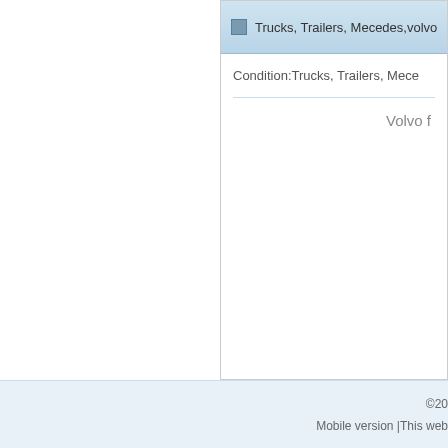Trucks, Trailers, Mecedes,volvo
Condition:Trucks, Trailers, Mece
Volvo f
[Figure (illustration): Blue gradient square with arrow/play icon pointing right]
©20
Mobile version |This web